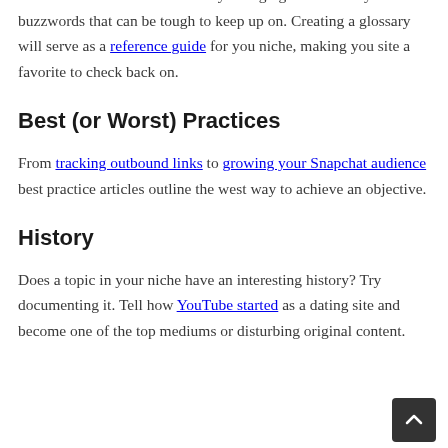Most industries have a constantly changing list of acronyms and buzzwords that can be tough to keep up on. Creating a glossary will serve as a reference guide for you niche, making you site a favorite to check back on.
Best (or Worst) Practices
From tracking outbound links to growing your Snapchat audience best practice articles outline the west way to achieve an objective.
History
Does a topic in your niche have an interesting history? Try documenting it. Tell how YouTube started as a dating site and become one of the top mediums or disturbing original content.